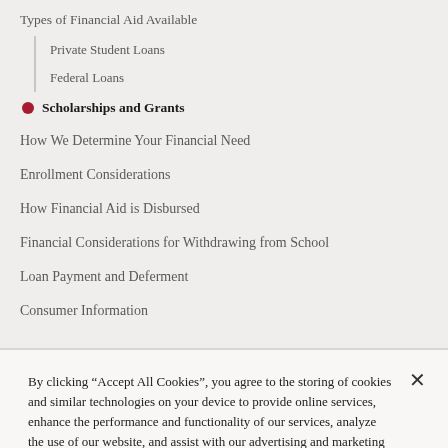Types of Financial Aid Available
Private Student Loans
Federal Loans
Scholarships and Grants
How We Determine Your Financial Need
Enrollment Considerations
How Financial Aid is Disbursed
Financial Considerations for Withdrawing from School
Loan Payment and Deferment
Consumer Information
By clicking “Accept All Cookies”, you agree to the storing of cookies and similar technologies on your device to provide online services, enhance the performance and functionality of our services, analyze the use of our website, and assist with our advertising and marketing efforts, in accordance with the Harvard Division of Continuing Education Privacy Statement.